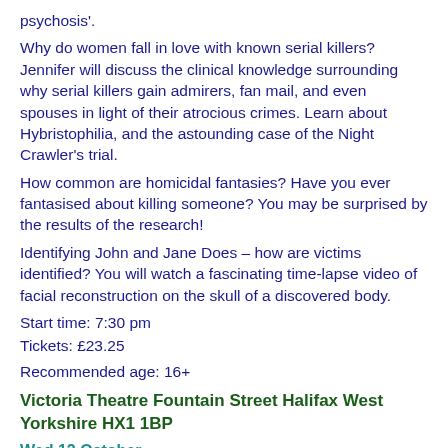psychosis'.
Why do women fall in love with known serial killers? Jennifer will discuss the clinical knowledge surrounding why serial killers gain admirers, fan mail, and even spouses in light of their atrocious crimes. Learn about Hybristophilia, and the astounding case of the Night Crawler’s trial.
How common are homicidal fantasies? Have you ever fantasised about killing someone? You may be surprised by the results of the research!
Identifying John and Jane Does – how are victims identified? You will watch a fascinating time-lapse video of facial reconstruction on the skull of a discovered body.
Start time: 7:30 pm
Tickets: £23.25
Recommended age: 16+
Victoria Theatre Fountain Street Halifax West Yorkshire HX1 1BP
Wed 12 October